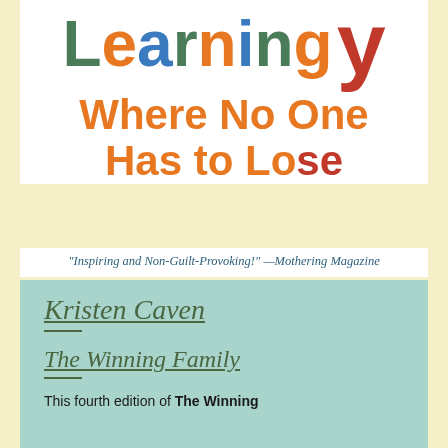[Figure (illustration): Book cover showing colorful large text title. Top portion shows clipped letters, then 'Where No One Has to Lose' in orange and red playful font.]
"Inspiring and Non-Guilt-Provoking!" —Mothering Magazine
Kristen Caven
The Winning Family
This fourth edition of The Winning